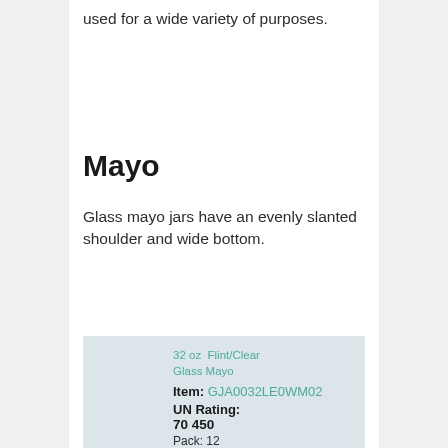used for a wide variety of purposes.
Mayo
Glass mayo jars have an evenly slanted shoulder and wide bottom.
| 32 oz  Flint/Clear Glass Mayo |
| Item: GJA0032LE0WM02 |
| UN Rating: 70 450 |
| Pack: 12 |